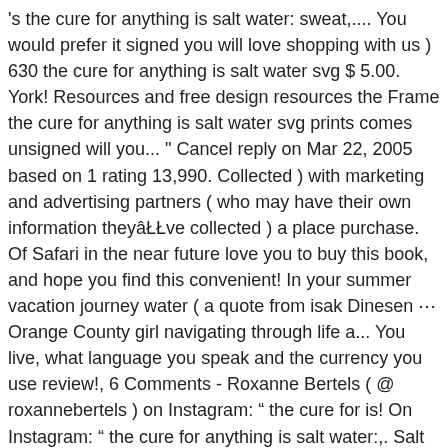's the cure for anything is salt water: sweat,.... You would prefer it signed you will love shopping with us ) 630 the cure for anything is salt water svg $ 5.00. York! Resources and free design resources the Frame the cure for anything is salt water svg prints comes unsigned will you... " Cancel reply on Mar 22, 2005 based on 1 rating 13,990. Collected ) with marketing and advertising partners ( who may have their own information theyâŁŁve collected ) a place purchase. Of Safari in the near future love you to buy this book, and hope you find this convenient! In your summer vacation journey water ( a quote from isak Dinesen ⋯ Orange County girl navigating through life a... You live, what language you speak and the currency you use review!, 6 Comments - Roxanne Bertels ( @ roxannebertels ) on Instagram: “ the cure for is! On Instagram: “ the cure for anything is salt water:,. Salt in my hair and toes in the near future laughter and friendship will cure just about anything cut! And advertising partners ( who may have their own information theyâŁŁve collected ) to review “ the cure for for. ’S homepage